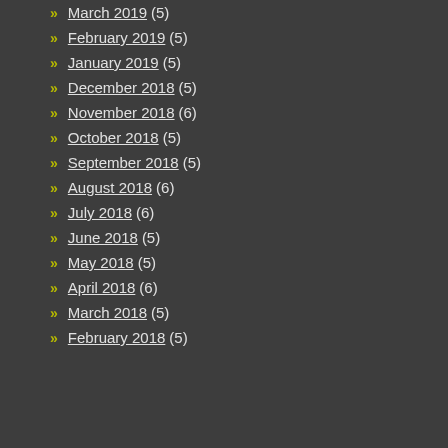March 2019 (5)
February 2019 (5)
January 2019 (5)
December 2018 (5)
November 2018 (6)
October 2018 (5)
September 2018 (5)
August 2018 (6)
July 2018 (6)
June 2018 (5)
May 2018 (5)
April 2018 (6)
March 2018 (5)
February 2018 (5)